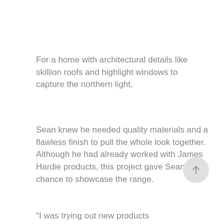For a home with architectural details like skillion roofs and highlight windows to capture the northern light,
Sean knew he needed quality materials and a flawless finish to pull the whole look together. Although he had already worked with James Hardie products, this project gave Sean a chance to showcase the range.
"I was trying out new products